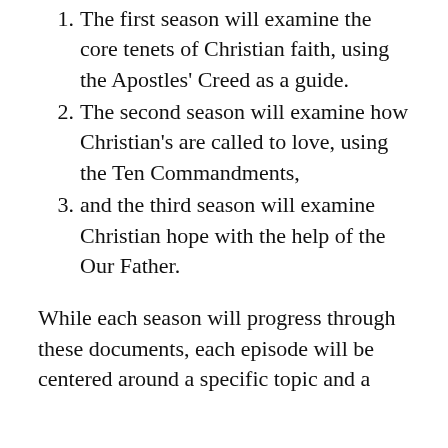1. The first season will examine the core tenets of Christian faith, using the Apostles' Creed as a guide.
2. The second season will examine how Christian's are called to love, using the Ten Commandments,
3. and the third season will examine Christian hope with the help of the Our Father.
While each season will progress through these documents, each episode will be centered around a specific topic and a